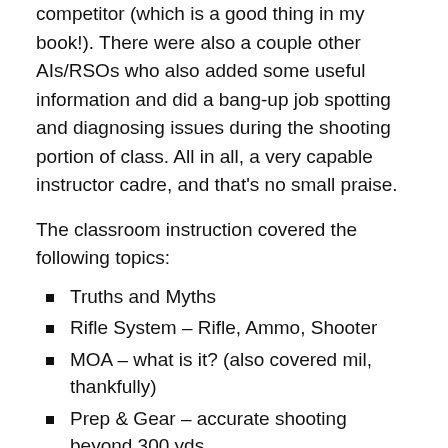competitor (which is a good thing in my book!). There were also a couple other AIs/RSOs who also added some useful information and did a bang-up job spotting and diagnosing issues during the shooting portion of class. All in all, a very capable instructor cadre, and that's no small praise.
The classroom instruction covered the following topics:
Truths and Myths
Rifle System – Rifle, Ammo, Shooter
MOA – what is it? (also covered mil, thankfully)
Prep & Gear – accurate shooting beyond 300 yds
Foundational Marksmanship, Principals and Techniques
Wind Basics
Ethical Hunting and Shot Placement
Rifle Clean Up and Maintenance